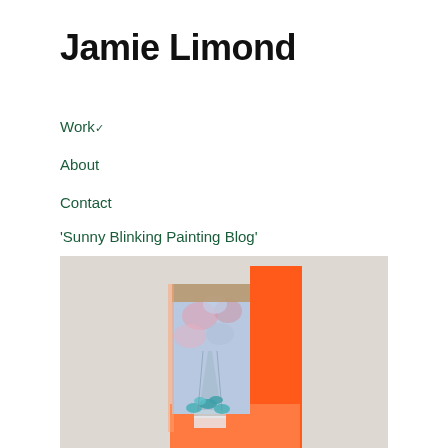Jamie Limond
Work ✓
About
Contact
'Sunny Blinking Painting Blog'
[Figure (photo): A painting hung on a white wall featuring an orange frame/border and a light blue interior with floral motifs in blue and pink tones, with a tan/beige horizontal band at the top.]